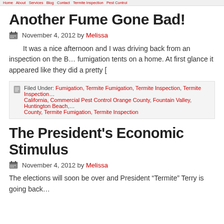navigation links (red, partial)
Another Fume Gone Bad!
November 4, 2012 by Melissa
It was a nice afternoon and I was driving back from an inspection on the B… fumigation tents on a home. At first glance it appeared like they did a pretty [
Filed Under: Fumigation, Termite Fumigation, Termite Inspection, Termite Inspection… California, Commercial Pest Control Orange County, Fountain Valley, Huntington Beach,… County, Termite Fumigation, Termite Inspection
The President's Economic Stimulus
November 4, 2012 by Melissa
The elections will soon be over and President "Termite" Terry is going back…